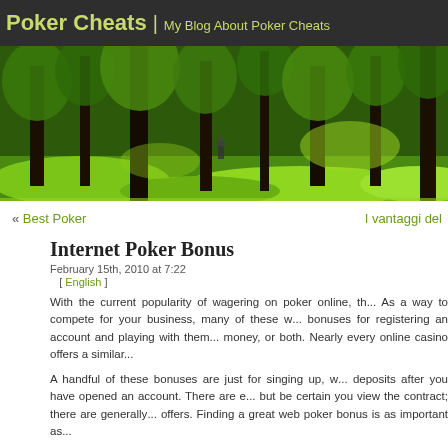Poker Cheats | My Blog About Poker Cheats
[Figure (photo): Forest banner image showing green trees and lush vegetation]
« Best Poker    I vantaggi del
Internet Poker Bonus
February 15th, 2010 at 7:22
[ English ]
With the current popularity of wagering on poker online, th... As a way to compete for your business, many of these w... bonuses for registering an account and playing with them... money, or both. Nearly every online casino offers a similar...
A handful of these bonuses are just for singing up, w... deposits after you have opened an account. There are e... but be certain you view the contract; there are generally... offers. Finding a great web poker bonus is as important as...